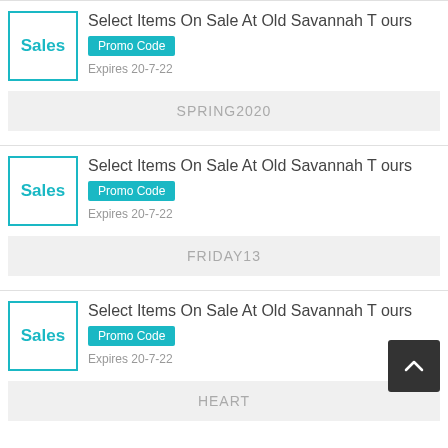Sales
Select Items On Sale At Old Savannah Tours
Promo Code
Expires 20-7-22
SPRING2020
Sales
Select Items On Sale At Old Savannah Tours
Promo Code
Expires 20-7-22
FRIDAY13
Sales
Select Items On Sale At Old Savannah Tours
Promo Code
Expires 20-7-22
HEART